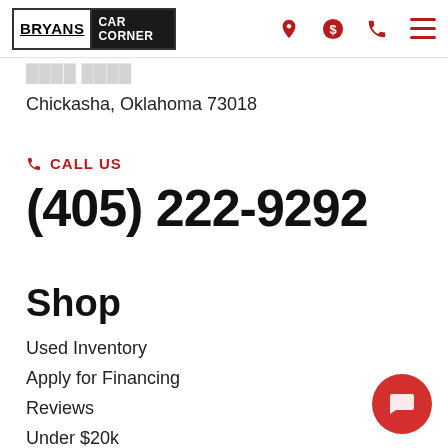BRYANS CAR CORNER — navigation header with logo and icons
Chickasha, Oklahoma 73018
CALL US
(405) 222-9292
Shop
Used Inventory
Apply for Financing
Reviews
Under $20k